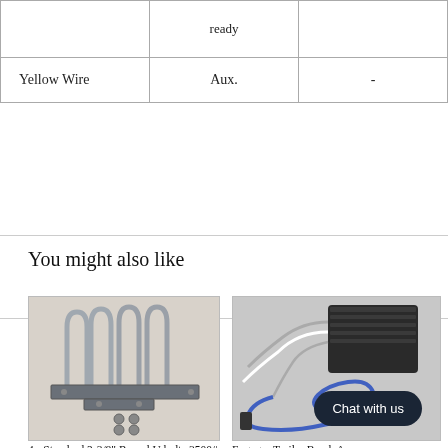|  |  |  |
| --- | --- | --- |
|  | ready |  |
| Yellow Wire | Aux. | - |
You might also like
[Figure (photo): Four U-bolts with mounting plates and hardware for trailer axle]
4 - Standard 2-3/8" Round U bolts 3500# Trailer Axle
[Figure (photo): Engager Trailer Break Away kit with black box and blue wiring]
Engager Trailer Break Away